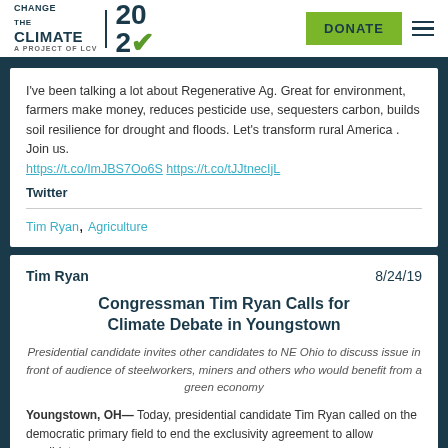[Figure (logo): Change the Climate 2020 logo with green checkmark, DONATE button, and hamburger menu]
I've been talking a lot about Regenerative Ag. Great for environment, farmers make money, reduces pesticide use, sequesters carbon, builds soil resilience for drought and floods. Let's transform rural America . Join us. https://t.co/ImJBS7Oo6S https://t.co/tJJtnecIjL
Twitter
Tim Ryan, Agriculture
Tim Ryan
8/24/19
Congressman Tim Ryan Calls for Climate Debate in Youngstown
Presidential candidate invites other candidates to NE Ohio to discuss issue in front of audience of steelworkers, miners and others who would benefit from a green economy
Youngstown, OH— Today, presidential candidate Tim Ryan called on the democratic primary field to end the exclusivity agreement to allow candidates